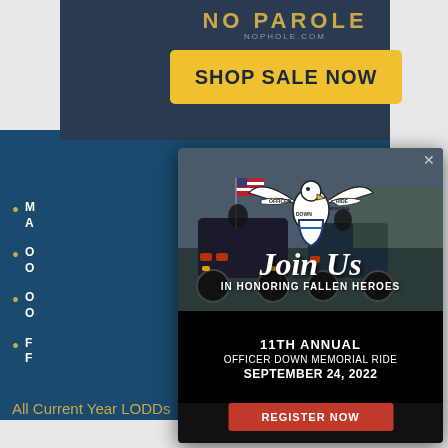[Figure (screenshot): Top dark banner with NO PAROLE logo and yellow SHOP SALE NOW button]
[Figure (infographic): Modal popup overlay showing Officer Down Memorial Ride event info with eagle logo, motorcycle background photo, 'Join Us IN HONORING FALLEN HEROES', '11TH ANNUAL OFFICER DOWN MEMORIAL RIDE SEPTEMBER 24, 2022', and a red REGISTER NOW button]
M
A
O
O
O
O
F
F
All Current Year LODDs